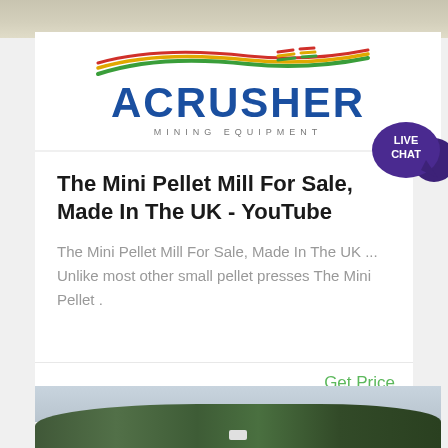[Figure (logo): ACrusher Mining Equipment logo with rainbow-colored stripes and blue bold text on white background, shown inside a banner with a sandy/quarry background image at the top]
[Figure (illustration): Teal/purple speech bubble with LIVE CHAT text, positioned at top right of the card]
The Mini Pellet Mill For Sale, Made In The UK - YouTube
The Mini Pellet Mill For Sale, Made In The UK ... Unlike most other small pellet presses The Mini Pellet .
Get Price
[Figure (photo): Landscape photo showing hills with green trees and cloudy sky, partial view at bottom of page]